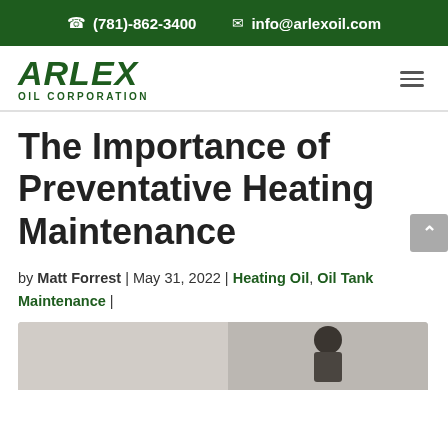☎ (781)-862-3400   ✉ info@arlexoil.com
[Figure (logo): Arlex Oil Corporation logo in dark green italic font]
The Importance of Preventative Heating Maintenance
by Matt Forrest | May 31, 2022 | Heating Oil, Oil Tank Maintenance |
[Figure (photo): Technician in cap and safety glasses working on heating equipment]